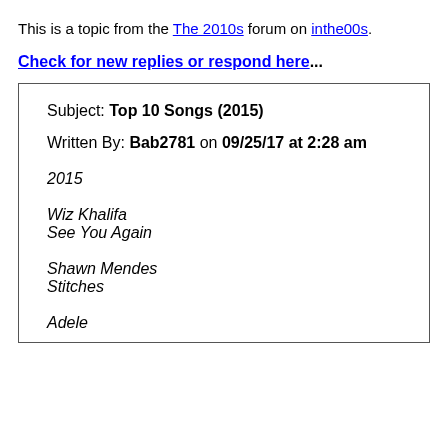This is a topic from the The 2010s forum on inthe00s.
Check for new replies or respond here...
Subject: Top 10 Songs (2015)
Written By: Bab2781 on 09/25/17 at 2:28 am
2015
Wiz Khalifa
See You Again
Shawn Mendes
Stitches
Adele